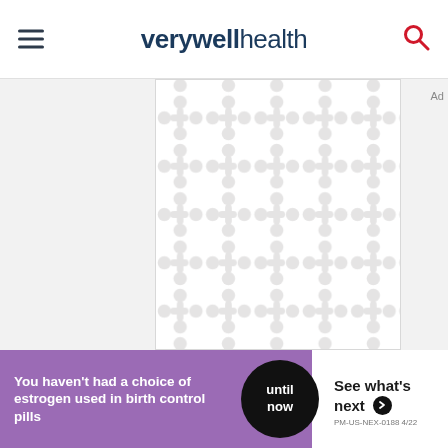verywell health
[Figure (illustration): Verywell Health branded placeholder/loading image with repeating light gray dumbbell/hourglass pattern on white background]
[Figure (infographic): Advertisement banner: purple left side with text 'You haven't had a choice of estrogen used in birth control pills', black circle with 'until now', white right side with 'See what's next' and arrow button. PM-US-NEX-0188 4/22]